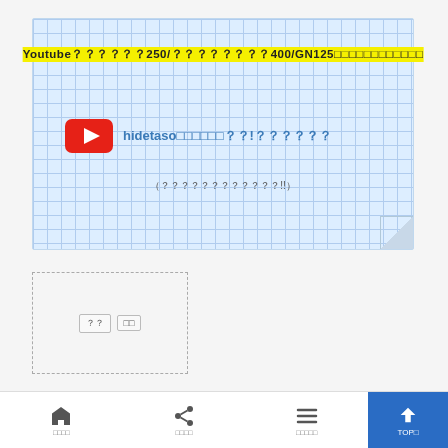[Figure (screenshot): Graph paper style card with YouTube channel link. Title shows 'Youtube??????250/????????400/GN125??????????????????' in bold with yellow highlight. YouTube play button icon followed by channel name 'hidetaso?????????!???????' in blue. Subtitle text '(?????????????????!!)' below.]
[Figure (other): Dashed border share/like box with icons for share actions]
????
????JSF????????????????????????????????????????????????
???? ???? ???? TOP???